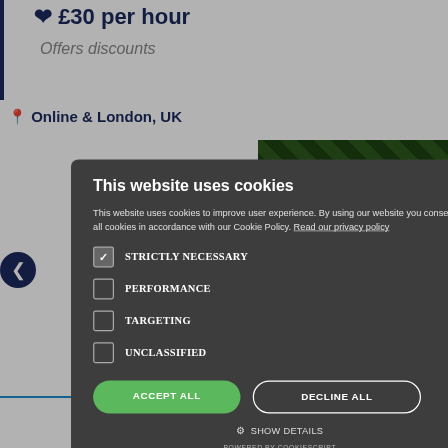£30 per hour
Offers discounts
Online & London, UK
[Figure (screenshot): Cookie consent modal overlay on a website. Dark rounded modal with title 'This website uses cookies', body text about cookie policy, checkboxes for STRICTLY NECESSARY (checked), PERFORMANCE, TARGETING, UNCLASSIFIED, Accept All and Decline All buttons, Show Details link, and Powered by Cookiescript footer.]
Talk to Maxine